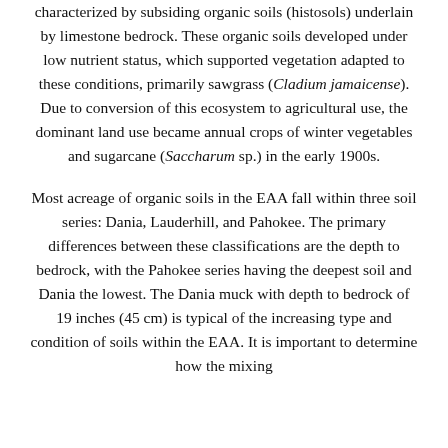characterized by subsiding organic soils (histosols) underlain by limestone bedrock. These organic soils developed under low nutrient status, which supported vegetation adapted to these conditions, primarily sawgrass (Cladium jamaicense). Due to conversion of this ecosystem to agricultural use, the dominant land use became annual crops of winter vegetables and sugarcane (Saccharum sp.) in the early 1900s.
Most acreage of organic soils in the EAA fall within three soil series: Dania, Lauderhill, and Pahokee. The primary differences between these classifications are the depth to bedrock, with the Pahokee series having the deepest soil and Dania the lowest. The Dania muck with depth to bedrock of 19 inches (45 cm) is typical of the increasing type and condition of soils within the EAA. It is important to determine how the mixing